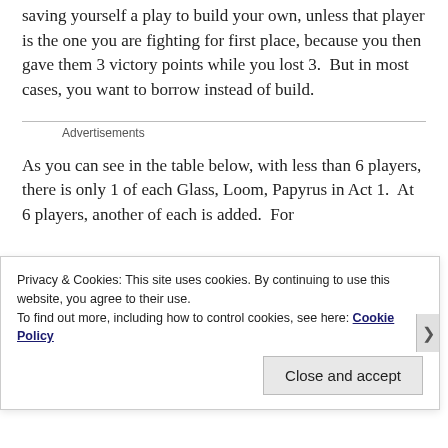saving yourself a play to build your own, unless that player is the one you are fighting for first place, because you then gave them 3 victory points while you lost 3.  But in most cases, you want to borrow instead of build.
Advertisements
As you can see in the table below, with less than 6 players, there is only 1 of each Glass, Loom, Papyrus in Act 1.  At 6 players, another of each is added.  For
Privacy & Cookies: This site uses cookies. By continuing to use this website, you agree to their use.
To find out more, including how to control cookies, see here: Cookie Policy
Close and accept